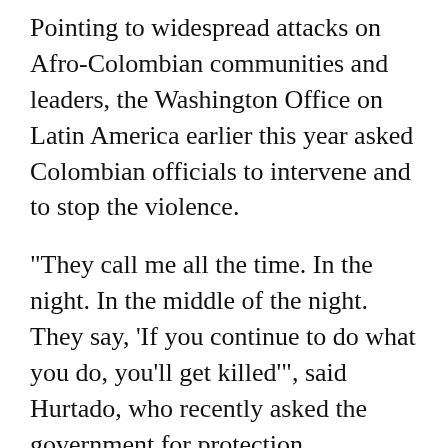Pointing to widespread attacks on Afro-Colombian communities and leaders, the Washington Office on Latin America earlier this year asked Colombian officials to intervene and to stop the violence.
"They call me all the time. In the night. In the middle of the night. They say, 'If you continue to do what you do, you'll get killed'", said Hurtado, who recently asked the government for protection. Gonzalez, who has had around the clock government protection for several years, recently renewed his request, saying the risks had grown.
In the last few years, the government has talked more about helping Afro-Colombians, Hurtado acknowledged. But the government's failure to